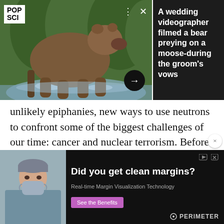[Figure (photo): Pop Sci logo overlay on photo of bear/moose in water with green forest background, with navigation icons and arrow button]
A wedding videographer filmed a bear preying on a moose-during the groom's vows
unlikely epiphanies, new ways to use neutrons to confront some of the biggest challenges of our time: cancer and nuclear terrorism. Before he would build a reactor that could hurl atoms together in a 500-million-degree plasma core—becoming, at 14, the youngest individual on Earth to achieve nuclear fusion.
[Figure (photo): Advertisement: Did you get clean margins? Doctor in surgical mask and cap. Real-time Margin Visualization Technology. See the Benefits button. Perimeter brand logo.]